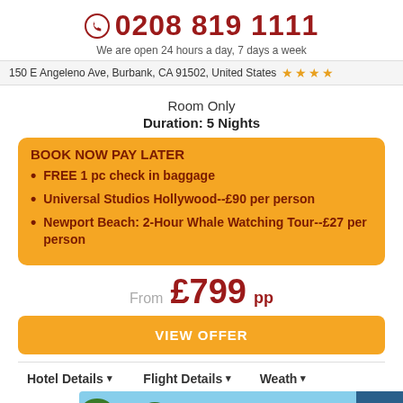0208 819 1111 — We are open 24 hours a day, 7 days a week
150 E Angeleno Ave, Burbank, CA 91502, United States ★★★★
Room Only
Duration: 5 Nights
BOOK NOW PAY LATER
FREE 1 pc check in baggage
Universal Studios Hollywood--£90 per person
Newport Beach: 2-Hour Whale Watching Tour--£27 per person
From £799 pp
VIEW OFFER
Hotel Details  Flight Details  Weather
[Figure (photo): Palm trees against a blue sky, bottom section of a travel offer page]